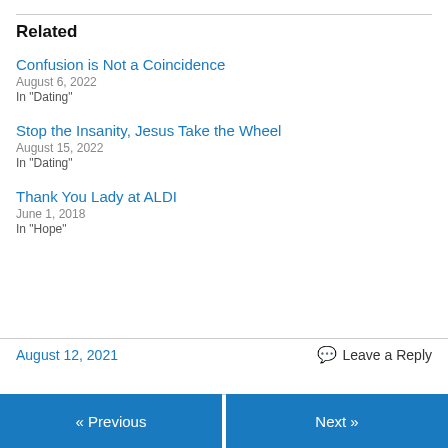Related
Confusion is Not a Coincidence
August 6, 2022
In "Dating"
Stop the Insanity, Jesus Take the Wheel
August 15, 2022
In "Dating"
Thank You Lady at ALDI
June 1, 2018
In "Hope"
August 12, 2021
Leave a Reply
« Previous   Next »